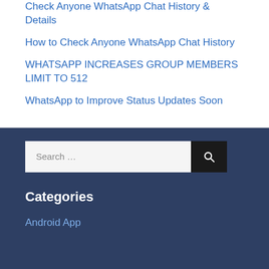Check Anyone WhatsApp Chat History & Details
How to Check Anyone WhatsApp Chat History
WHATSAPP INCREASES GROUP MEMBERS LIMIT TO 512
WhatsApp to Improve Status Updates Soon
Categories
Android App